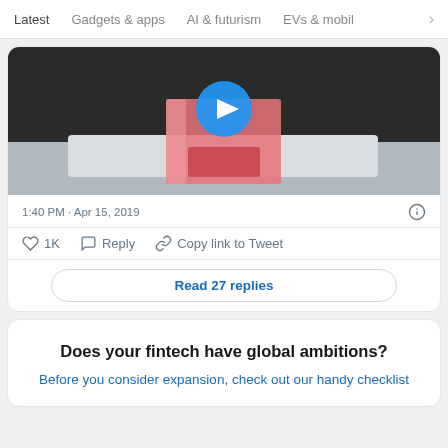Latest   Gadgets & apps   AI & futurism   EVs & mobil  >
[Figure (screenshot): Video thumbnail showing a pink/red transparent rectangular object on a white tray, with a blue circular play button overlay]
1:40 PM · Apr 15, 2019
♡ 1K   Reply   Copy link to Tweet
Read 27 replies
Does your fintech have global ambitions?
Before you consider expansion, check out our handy checklist